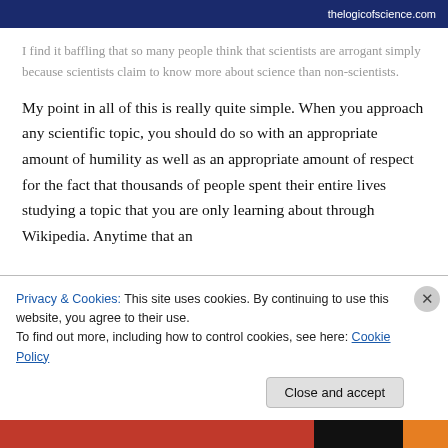thelogicofscience.com
I find it baffling that so many people think that scientists are arrogant simply because scientists claim to know more about science than non-scientists.
My point in all of this is really quite simple. When you approach any scientific topic, you should do so with an appropriate amount of humility as well as an appropriate amount of respect for the fact that thousands of people spent their entire lives studying a topic that you are only learning about through Wikipedia. Anytime that an
Privacy & Cookies: This site uses cookies. By continuing to use this website, you agree to their use.
To find out more, including how to control cookies, see here: Cookie Policy
Close and accept